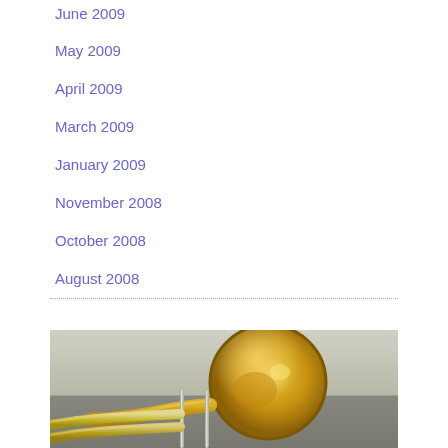June 2009
May 2009
April 2009
March 2009
January 2009
November 2008
October 2008
August 2008
[Figure (photo): Close-up photograph of a brass trombone bell and slide, shown against a light grey background. The instrument is gold/brass colored with shiny reflective surfaces.]